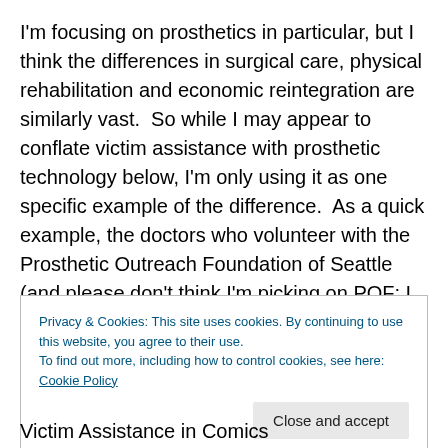I'm focusing on prosthetics in particular, but I think the differences in surgical care, physical rehabilitation and economic reintegration are similarly vast.  So while I may appear to conflate victim assistance with prosthetic technology below, I'm only using it as one specific example of the difference.  As a quick example, the doctors who volunteer with the Prosthetic Outreach Foundation of Seattle (and please don't think I'm picking on POF; I visited their facility in Vietnam and love what they do) to provide orthopedic surgery in developing
Privacy & Cookies: This site uses cookies. By continuing to use this website, you agree to their use.
To find out more, including how to control cookies, see here: Cookie Policy
Close and accept
Victim Assistance in Comics